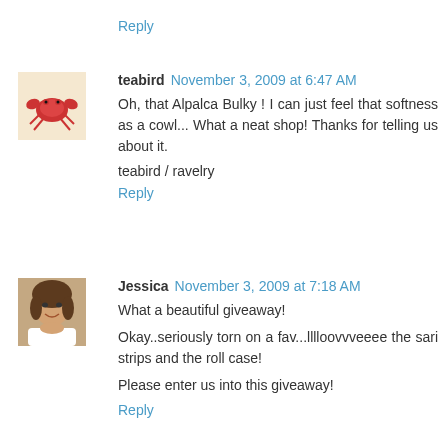Reply
teabird November 3, 2009 at 6:47 AM
Oh, that Alpalca Bulky ! I can just feel that softness as a cowl... What a neat shop! Thanks for telling us about it.
teabird / ravelry
Reply
Jessica November 3, 2009 at 7:18 AM
What a beautiful giveaway!
Okay..seriously torn on a fav...lllloovvveeee the sari strips and the roll case!
Please enter us into this giveaway!
Reply